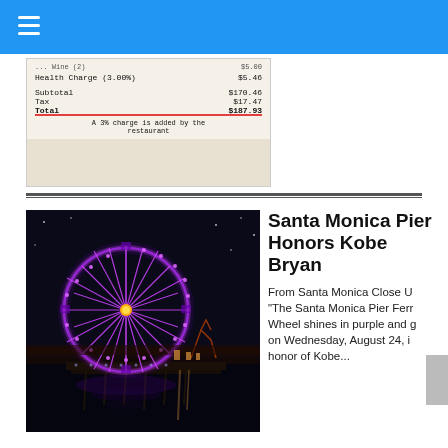[Figure (photo): Photo of a printed restaurant receipt showing Health Charge (3.00%), Subtotal $170.46, Tax $17.47, Total $187.93, with a red line across the total and a note 'A 3% charge is added by the restaurant']
[Figure (photo): Night photo of the Santa Monica Pier with a ferris wheel illuminated in purple and gold lights, reflecting on dark water below]
Santa Monica Pier Honors Kobe Bryan
From Santa Monica Close U "The Santa Monica Pier Ferris Wheel shines in purple and g on Wednesday, August 24, i honor of Kobe...